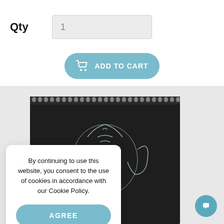Qty
1
ADD TO CART
[Figure (photo): A dark black spiral-bound sketchbook with a detailed pencil illustration of an elephant on the cover, shown against a light grey background.]
By continuing to use this website, you consent to the use of cookies in accordance with our Cookie Policy.
AGREE